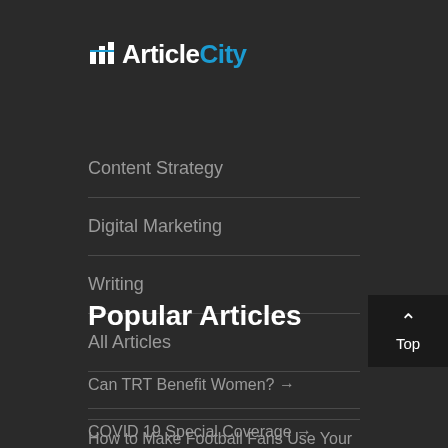[Figure (logo): ArticleCity logo with building icon, 'Article' in white and 'City' in blue]
Content Strategy
Digital Marketing
Writing
All Articles
Popular Articles
Can TRT Benefit Women? →
COVID 19 Special Coverage →
How to Make Football Fans Use Your